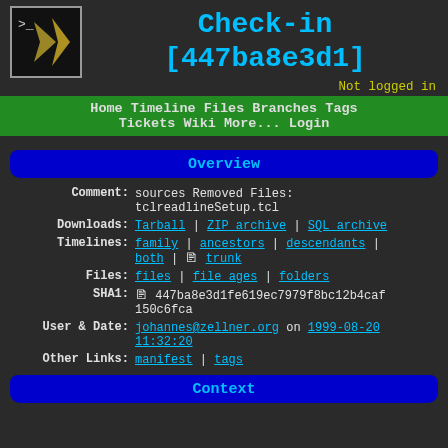[Figure (logo): Fossil SCM logo: terminal prompt icon with golden feather quill on dark background]
Check-in [447ba8e3d1]
Not logged in
Navigation bar: Home  Timeline  Files  Branches  Tags  Tickets  Wiki  More...  Login
Overview
| Label | Value |
| --- | --- |
| Comment: | sources Removed Files: tclreadlineSetup.tcl |
| Downloads: | Tarball | ZIP archive | SQL archive |
| Timelines: | family | ancestors | descendants | both | trunk |
| Files: | files | file ages | folders |
| SHA1: | 447ba8e3d1fe619ec7979f8bc12b4caf150c6fca |
| User & Date: | johannes@zellner.org on 1999-08-20 11:32:20 |
| Other Links: | manifest | tags |
Context